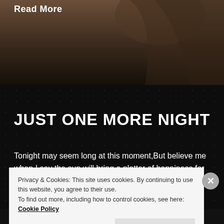[Figure (photo): Dark brownish photo of a person, partially visible, with a warm gradient background]
Read More
JUST ONE MORE NIGHT
Tonight may seem long at this moment,But believe me when I say the sun will bring a platter of happiness for you.You might be letting
Privacy & Cookies: This site uses cookies. By continuing to use this website, you agree to their use.
To find out more, including how to control cookies, see here: Cookie Policy
Close and accept